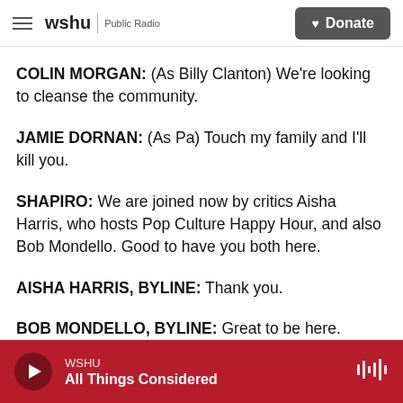wshu Public Radio | Donate
COLIN MORGAN: (As Billy Clanton) We're looking to cleanse the community.
JAMIE DORNAN: (As Pa) Touch my family and I'll kill you.
SHAPIRO: We are joined now by critics Aisha Harris, who hosts Pop Culture Happy Hour, and also Bob Mondello. Good to have you both here.
AISHA HARRIS, BYLINE: Thank you.
BOB MONDELLO, BYLINE: Great to be here.
WSHU | All Things Considered